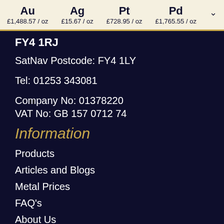Au £1,488.57/oz   Ag £15.67/oz   Pt £728.95/oz   Pd £1,765.55/oz
FY4 1RJ
SatNav Postcode: FY4 1LY
Tel: 01253 343081
Company No: 01378220
VAT No: GB 157 0712 74
Information
Products
Articles and Blogs
Metal Prices
FAQ's
About Us